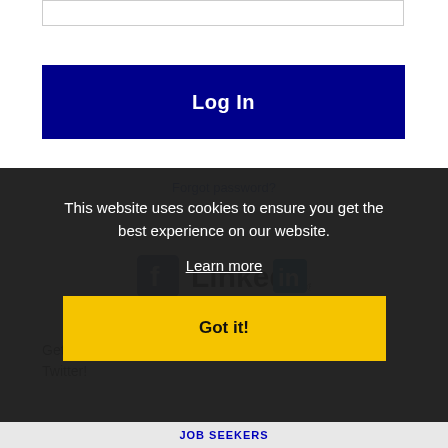[Figure (screenshot): Input text box at top of login form]
Log In
Forgot password?
[Figure (logo): Facebook and LinkedIn social login icons]
Get the latest Oregon jobs by following @reenetOR on Twitter!
This website uses cookies to ensure you get the best experience on our website.
Learn more
Got it!
JOB SEEKERS